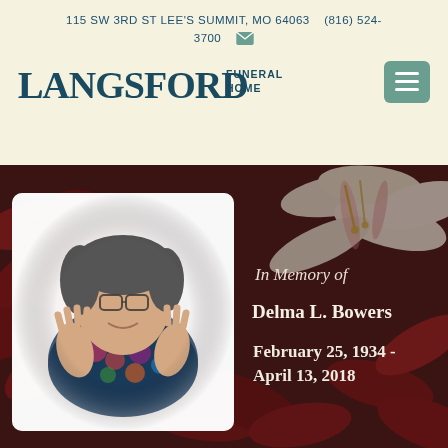115 SW 3RD ST LEE'S SUMMIT, MO 64063   (816) 524-3700
[Figure (logo): Langsford Funeral Home logo with stylized text]
[Figure (photo): Floral background with red and white lilies, portrait of elderly woman Delma L. Bowers waving and smiling in a white portrait card]
In Memory of
Delma L. Bowers
February 25, 1934 - April 13, 2018